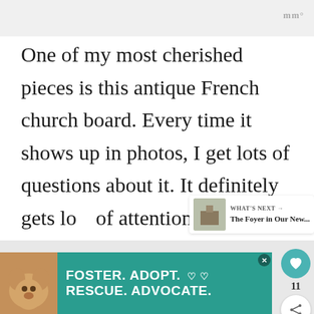One of my most cherished pieces is this antique French church board. Every time it shows up in photos, I get lots of questions about it. It definitely gets lots of attention whenever someone visits and it tells a story all on it's
[Figure (infographic): Dog adoption advertisement with teal background reading FOSTER. ADOPT. RESCUE. ADVOCATE.]